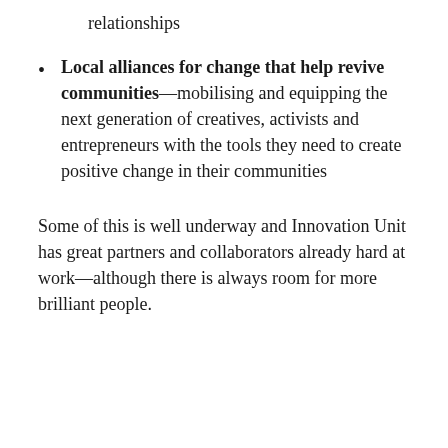relationships
Local alliances for change that help revive communities—mobilising and equipping the next generation of creatives, activists and entrepreneurs with the tools they need to create positive change in their communities
Some of this is well underway and Innovation Unit has great partners and collaborators already hard at work—although there is always room for more brilliant people.